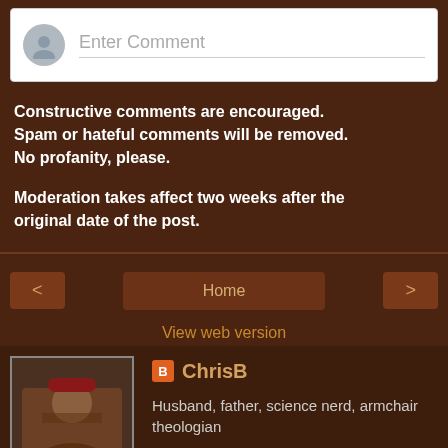[Figure (screenshot): Comment input box with gray avatar icon and 'Enter Comment' placeholder text]
Constructive comments are encouraged. Spam or hateful comments will be removed. No profanity, please.
Moderation takes affect two weeks after the original date of the post.
Home
View web version
[Figure (photo): Profile photo of ChrisB - person wearing a cap]
ChrisB
Husband, father, science nerd, armchair theologian
View my complete profile
Powered by Blogger.